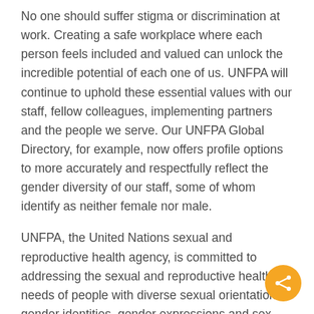No one should suffer stigma or discrimination at work. Creating a safe workplace where each person feels included and valued can unlock the incredible potential of each one of us. UNFPA will continue to uphold these essential values with our staff, fellow colleagues, implementing partners and the people we serve. Our UNFPA Global Directory, for example, now offers profile options to more accurately and respectfully reflect the gender diversity of our staff, some of whom identify as neither female nor male.
UNFPA, the United Nations sexual and reproductive health agency, is committed to addressing the sexual and reproductive health needs of people with diverse sexual orientations, gender identities, gender expressions and sex characteristics. Together, let us promote a society free from all forms of discrimination and harassment to ensure that everyone, everywhere is able to live and work in safety and dignity.
– – –
Statement and poster from UN Globe, which advocates...